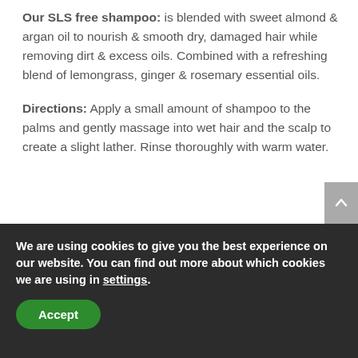Our SLS free shampoo: is blended with sweet almond & argan oil to nourish & smooth dry, damaged hair while removing dirt & excess oils. Combined with a refreshing blend of lemongrass, ginger & rosemary essential oils.
Directions: Apply a small amount of shampoo to the palms and gently massage into wet hair and the scalp to create a slight lather. Rinse thoroughly with warm water.
We are using cookies to give you the best experience on our website. You can find out more about which cookies we are using in settings.